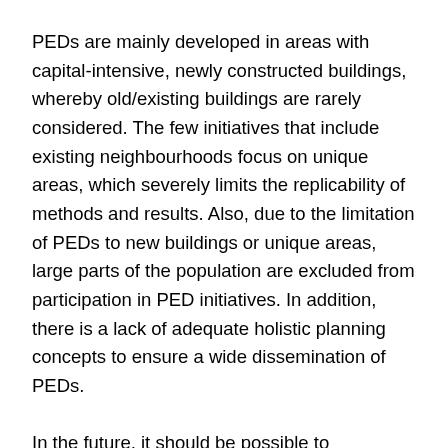PEDs are mainly developed in areas with capital-intensive, newly constructed buildings, whereby old/existing buildings are rarely considered. The few initiatives that include existing neighbourhoods focus on unique areas, which severely limits the replicability of methods and results. Also, due to the limitation of PEDs to new buildings or unique areas, large parts of the population are excluded from participation in PED initiatives. In addition, there is a lack of adequate holistic planning concepts to ensure a wide dissemination of PEDs.
In the future, it should be possible to implement PEDs on a large scale. This results in the need for fully comprehensive planning concepts for PEDs in existing buildings, ranging from financing of generation units